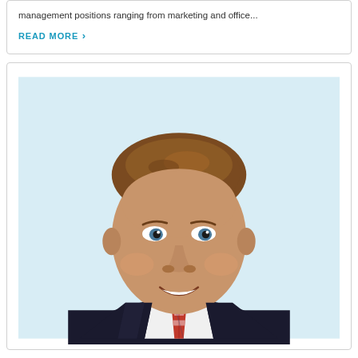management positions ranging from marketing and office...
READ MORE ›
[Figure (photo): Professional headshot of a young man in a dark suit with a plaid tie, smiling, against a light blue background.]